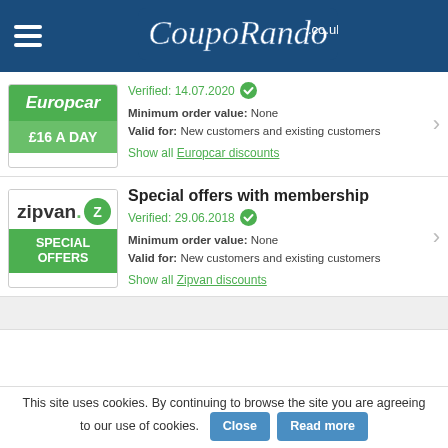CoupoRando.co.uk
[Figure (logo): Europcar logo with green background showing brand name and £16 A DAY promotional text]
Verified: 14.07.2020
Minimum order value: None
Valid for: New customers and existing customers
Show all Europcar discounts
Special offers with membership
[Figure (logo): Zipvan logo with white background showing brand name with Z icon and SPECIAL OFFERS green banner]
Verified: 29.06.2018
Minimum order value: None
Valid for: New customers and existing customers
Show all Zipvan discounts
This site uses cookies. By continuing to browse the site you are agreeing to our use of cookies.